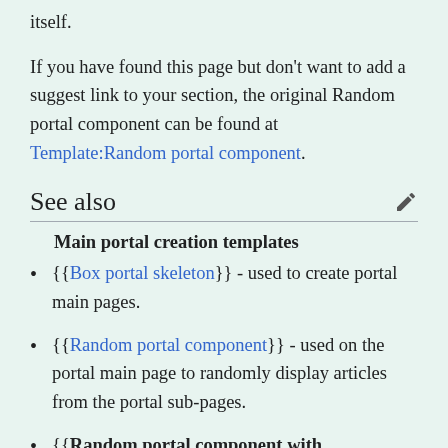itself.
If you have found this page but don't want to add a suggest link to your section, the original Random portal component can be found at Template:Random portal component.
See also
Main portal creation templates
{{Box portal skeleton}} - used to create portal main pages.
{{Random portal component}} - used on the portal main page to randomly display articles from the portal sub-pages.
{{Random portal component with nominate}} - used on the portal main page to randomly display